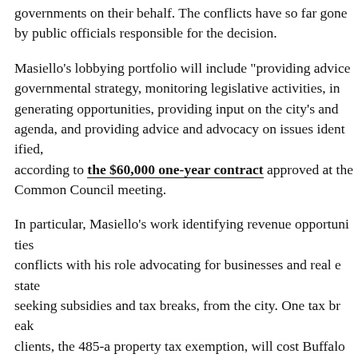governments on their behalf. The conflicts have so far gone unnoticed by public officials responsible for the decision.
Masiello's lobbying portfolio will include "providing advice on governmental strategy, monitoring legislative activities, identifying and generating opportunities, providing input on the city's and county's agenda, and providing advice and advocacy on issues identified," according to the $60,000 one-year contract approved at the Common Council meeting.
In particular, Masiello's work identifying revenue opportunities conflicts with his role advocating for businesses and real estate developers seeking subsidies and tax breaks, from the city. One tax break for his clients, the 485-a property tax exemption, will cost Buffalo homeowners and renters $63.5 million through 2029, as we reported last year.
Some of Masiello's lobbying clients with business before the city include Termini, the investor behind a planned cannabis operation, as well as real estate developers Sinatra & Company and Creative St...